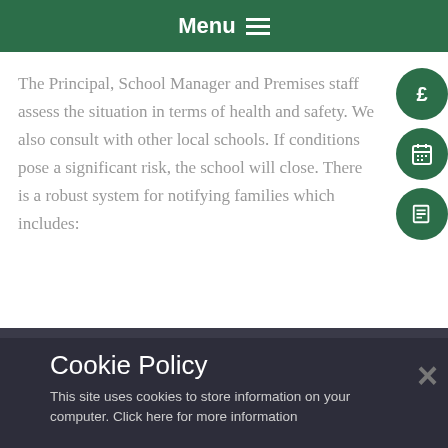Menu
The Principal, School Manager and Premises staff assess the situation in terms of health and safety. We also consult with other local schools. If conditions pose a significant risk, the school will close. There is a robust system for notifying families which includes:
Cookie Policy
This site uses cookies to store information on your computer. Click here for more information